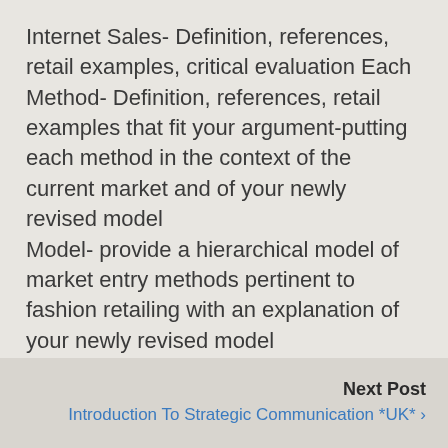Internet Sales- Definition, references, retail examples, critical evaluation Each Method- Definition, references, retail examples that fit your argument-putting each method in the context of the current market and of your newly revised model
Model- provide a hierarchical model of market entry methods pertinent to fashion retailing with an explanation of your newly revised model
Conclusion- outlining which one single method is considered to be the most important driver of future fashion retail internalisation growth
Next Post
Introduction To Strategic Communication *UK* ›